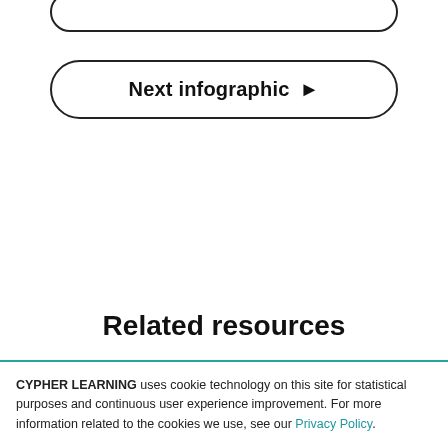[Figure (other): Partial rounded-rectangle button visible at top of page, cropped]
Next infographic ▶
Related resources
CYPHER LEARNING uses cookie technology on this site for statistical purposes and continuous user experience improvement. For more information related to the cookies we use, see our Privacy Policy.
If you decline, your information won't be tracked when you visit this website.
Accept
Decline